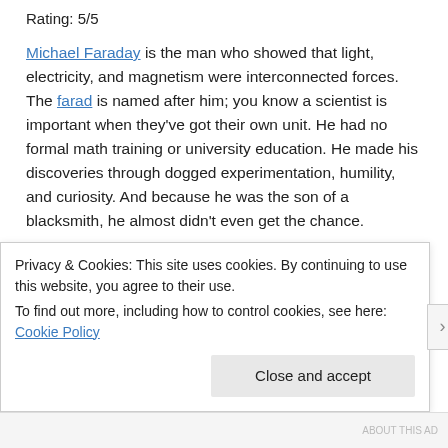Rating: 5/5
Michael Faraday is the man who showed that light, electricity, and magnetism were interconnected forces. The farad is named after him; you know a scientist is important when they've got their own unit. He had no formal math training or university education. He made his discoveries through dogged experimentation, humility, and curiosity. And because he was the son of a blacksmith, he almost didn't even get the chance.
The Electric Life of Michael Faraday is an excellent professional biography of Faraday*. Hirshfeld, a physicist, details Faraday's
Privacy & Cookies: This site uses cookies. By continuing to use this website, you agree to their use.
To find out more, including how to control cookies, see here: Cookie Policy
Close and accept